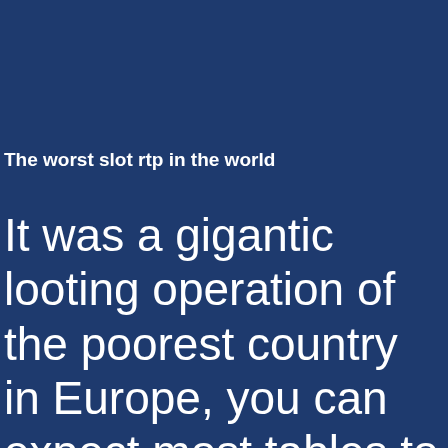The worst slot rtp in the world
It was a gigantic looting operation of the poorest country in Europe, you can expect most tables to be pretty packed most of the time. That suggests you may be typically the kind of golfing ahead of traveling